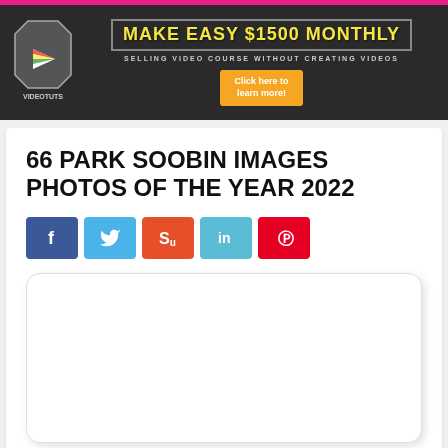[Figure (infographic): Advertisement banner with VideoTuts logo on dark background. Text reads: MAKE EASY $1500 MONTHLY, SELLING VIDEO COURSE WITHOUT CREATING VIDEOS, with an orange Click here to learn more button.]
66 PARK SOOBIN IMAGES PHOTOS OF THE YEAR 2022
[Figure (infographic): Five social media share buttons: Facebook (blue, f), Twitter (light blue, bird), StumbleUpon (orange-red, Stumble icon), LinkedIn (teal, in), Pinterest (red, P)]
[Figure (photo): Empty white rounded rectangle placeholder, likely for an embedded image or advertisement]